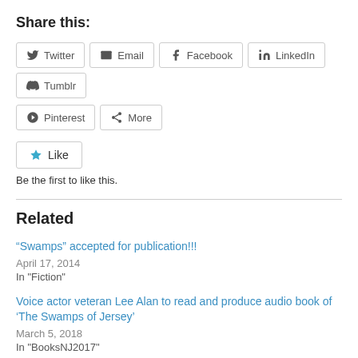Share this:
Twitter | Email | Facebook | LinkedIn | Tumblr | Pinterest | More
Like
Be the first to like this.
Related
“Swamps” accepted for publication!!!
April 17, 2014
In "Fiction"
Voice actor veteran Lee Alan to read and produce audio book of ‘The Swamps of Jersey’
March 5, 2018
In "BooksNJ2017"
‘The Weight of Living’ trailer released on YouTube